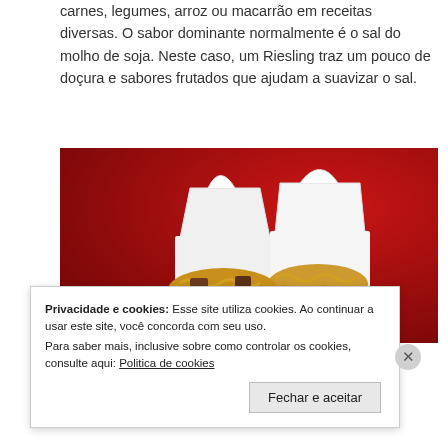carnes, legumes, arroz ou macarrão em receitas diversas. O sabor dominante normalmente é o sal do molho de soja. Neste caso, um Riesling traz um pouco de doçura e sabores frutados que ajudam a suavizar o sal.
[Figure (photo): Two white takeout boxes with noodles and meat on a red background]
Privacidade e cookies: Esse site utiliza cookies. Ao continuar a usar este site, você concorda com seu uso.
Para saber mais, inclusive sobre como controlar os cookies, consulte aqui: Politica de cookies
Fechar e aceitar